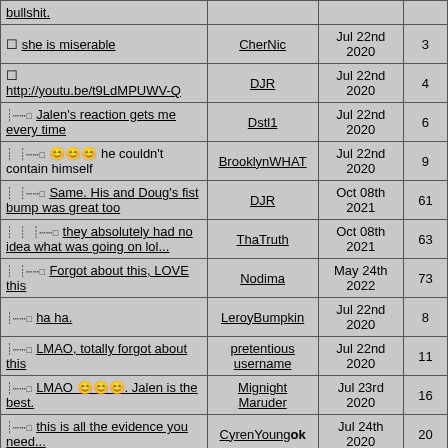| Comment | User | Date | Score |
| --- | --- | --- | --- |
| bullshit. |  |  |  |
| she is miserable | CherNic | Jul 22nd 2020 | 3 |
| http://youtu.be/t9LdMPUWV-Q | DJR | Jul 22nd 2020 | 4 |
| Jalen's reaction gets me every time | Dstl1 | Jul 22nd 2020 | 6 |
| 😊😊😊 he couldn't contain himself | BrooklynWHAT | Jul 22nd 2020 | 9 |
| Same. His and Doug's fist bump was great too | DJR | Oct 08th 2021 | 61 |
| they absolutely had no idea what was going on lol... | ThaTruth | Oct 08th 2021 | 63 |
| Forgot about this, LOVE this | Nodima | May 24th 2022 | 73 |
| ha ha. | LeroyBumpkin | Jul 22nd 2020 | 8 |
| LMAO, totally forgot about this | pretentious username | Jul 22nd 2020 | 11 |
| LMAO 😊😊😊. Jalen is the best. | Mignight Maruder | Jul 23rd 2020 | 16 |
| this is all the evidence you need... | CyrenYoung ok | Jul 24th 2020 | 20 |
| lol | makaveli | Jul 24th 2020 | 30 |
| LMAO | Castro | Oct 08th 2021 | 60 |
| hi | MEAT | Jul 22nd 2020 | 5 |